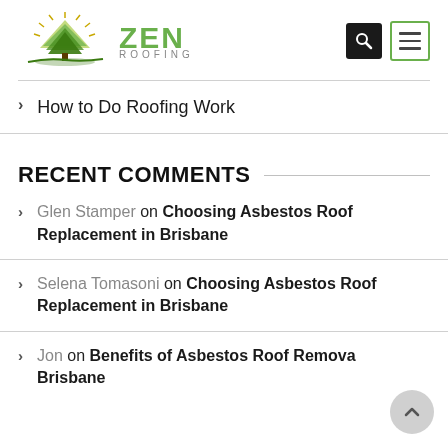[Figure (logo): Zen Roofing logo with green tree/sun graphic and text 'ZEN ROOFING - GIVING YOU THE PEACE OF MIND']
How to Do Roofing Work
RECENT COMMENTS
Glen Stamper on Choosing Asbestos Roof Replacement in Brisbane
Selena Tomasoni on Choosing Asbestos Roof Replacement in Brisbane
Jon on Benefits of Asbestos Roof Removal Brisbane